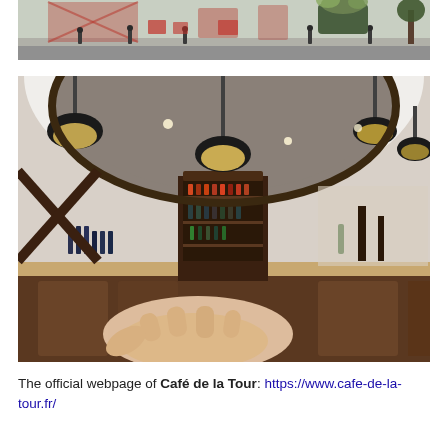[Figure (photo): Exterior street scene photo showing a café terrace with red furniture, bollards, and flowering planters. Part of the top of the page.]
[Figure (photo): Interior photo of Café de la Tour showing a curved wooden bar with pendant lights, wine bottles on shelves, and a hand pointing at something in the foreground.]
The official webpage of Café de la Tour: https://www.cafe-de-la-tour.fr/